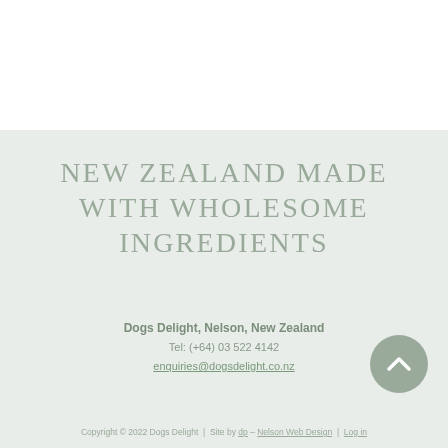NEW ZEALAND MADE WITH WHOLESOME INGREDIENTS
Dogs Delight, Nelson, New Zealand
Tel: (+64) 03 522 4142
enquiries@dogsdelight.co.nz
Copyright © 2022 Dogs Delight | Site by dp – Nelson Web Design | Log in